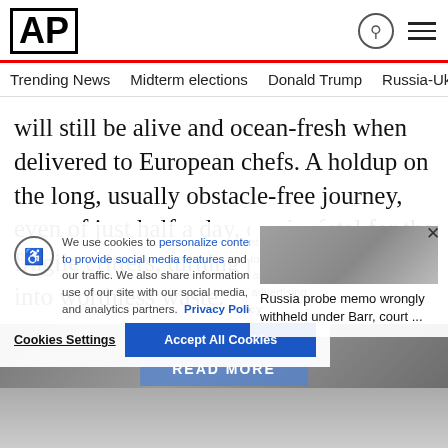AP
Trending News   Midterm elections   Donald Trump   Russia-Ukr
will still be alive and ocean-fresh when delivered to European chefs. A holdup on the long, usually obstacle-free journey, even of just half a day, can be fatal for the fragile critters, turning prized seafood into worthless waste.
[Figure (screenshot): Cookie consent banner with accessibility icon, cookie policy text with Privacy Policy link, Cookies Settings button and Accept All Cookies button. Overlapping side panel showing a news item about Russia probe memo wrongly withheld under Barr, court ... with a close (X) button. Read More overlay text in center of image area.]
We use cookies to personalize content and ads, to provide social media features and to analyze our traffic. We also share information about your use of our site with our social media, advertising and analytics partners.
Privacy Policy
Cookies Settings
Accept All Cookies
Russia probe memo wrongly withheld under Barr, court ...